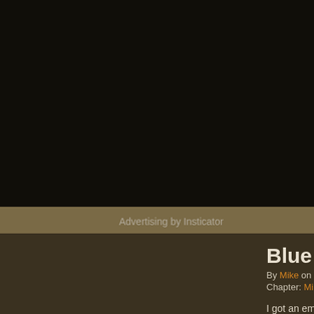[Figure (other): Dark background area (advertisement space) taking up the top portion of the page]
Advertising by Insticator
Blue Ligh
By Mike on Decem
Chapter: Mike: Boo
I got an email fr section: "I'm a c we've been ha